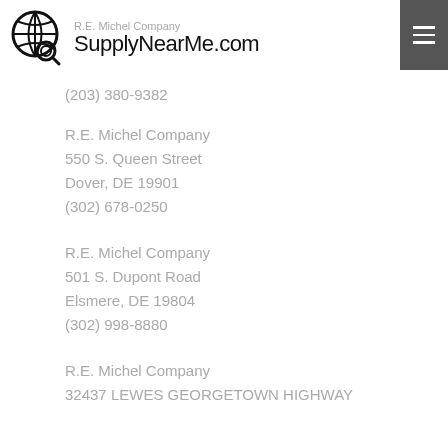R.E. Michel Company SupplyNearMe.com
(203) 380-9382
R.E. Michel Company
550 S. Queen Street
Dover, DE 19901
(302) 678-0250
R.E. Michel Company
501 S. Dupont Road
Elsmere, DE 19804
(302) 998-8880
R.E. Michel Company
32437 LEWES GEORGETOWN HIGHWAY